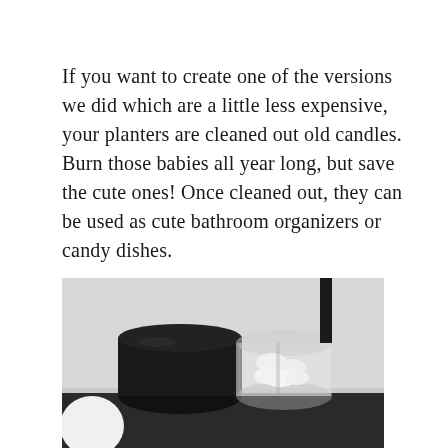If you want to create one of the versions we did which are a little less expensive, your planters are cleaned out old candles. Burn those babies all year long, but save the cute ones! Once cleaned out, they can be used as cute bathroom organizers or candy dishes.
[Figure (photo): A close-up photo of bathroom organizers made from cleaned-out candle jars. A black matte container sits next to a clear glass jar filled with small white items (cotton balls or candy). A dark surface and blurred background with what appears to be a faucet.]